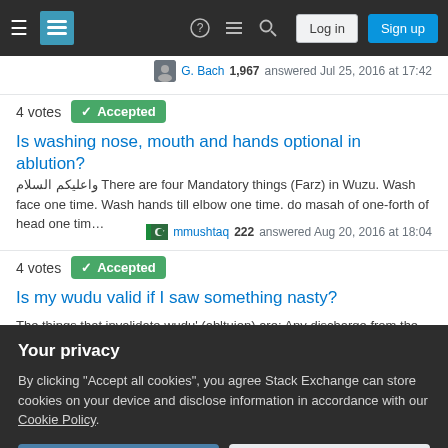Stack Exchange navigation bar with Log in and Sign up buttons
G. Bach 1,967 answered Jul 25, 2016 at 17:42
4 votes  Accepted
Is washing nose, mouth and hands optional in ablution?
واعليكم السلام There are four Mandatory things (Farz) in Wuzu. Wash face one time. Wash hands till elbow one time. do masah of one-forth of head one tim…
mmushtaq 222 answered Aug 20, 2016 at 18:04
4 votes  Accepted
Is my wudu valid if I saw something nasty?
The things that invalidate wudu' (abltuion) are: Any discharge from the front or
Your privacy
By clicking "Accept all cookies", you agree Stack Exchange can store cookies on your device and disclose information in accordance with our Cookie Policy.
It is a recommended Sunnah to sleep in a state of ritual purity. [Shurunbulali,